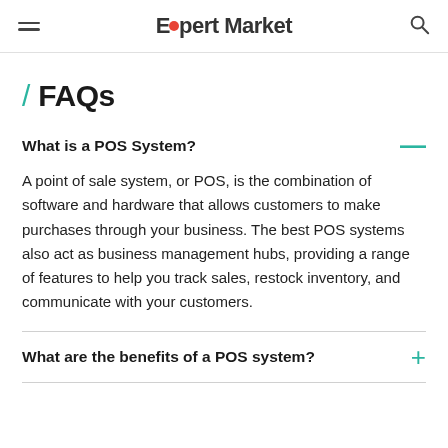Expert Market
/ FAQs
What is a POS System?
A point of sale system, or POS, is the combination of software and hardware that allows customers to make purchases through your business. The best POS systems also act as business management hubs, providing a range of features to help you track sales, restock inventory, and communicate with your customers.
What are the benefits of a POS system?